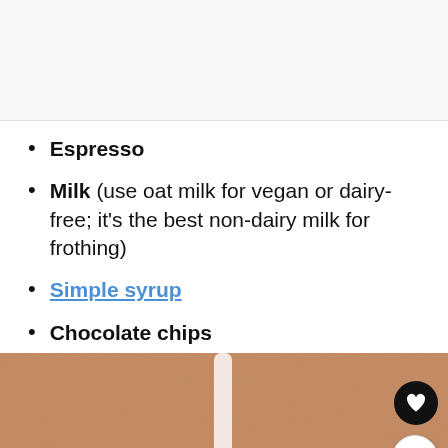[Figure (other): Gray/white top bar area, partial page header region]
Espresso
Milk (use oat milk for vegan or dairy-free; it's the best non-dairy milk for frothing)
Simple syrup
Chocolate chips
[Figure (photo): Photo of milk being poured into a glass on a wooden/copper surface background, with a heart button and share button overlaid on the right side]
[Figure (other): Walgreens advertisement banner: Your One Stop Vitamin Shop - Walgreens Photo]